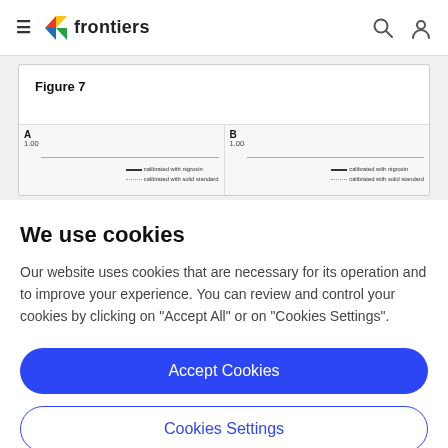frontiers
[Figure (other): Figure 7 preview showing two panels A and B with line chart legends: 'calibrated with nigrosin' (solid line) and 'calibrated with solid standard' (dotted line), with value 1.00 marked on y-axis of each panel.]
Figure 7
We use cookies
Our website uses cookies that are necessary for its operation and to improve your experience. You can review and control your cookies by clicking on "Accept All" or on "Cookies Settings".
Accept Cookies
Cookies Settings